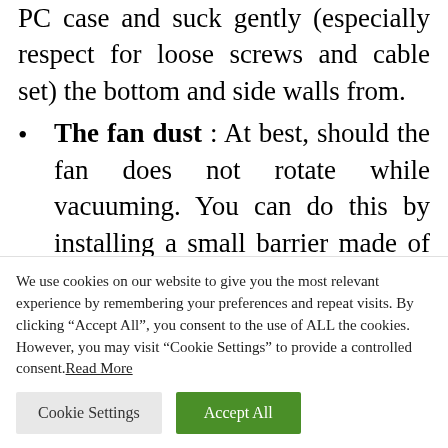PC case and suck gently (especially respect for loose screws and cable set) the bottom and side walls from.
The fan dust : At best, should the fan does not rotate while vacuuming. You can do this by installing a small barrier made of wire or a piece of wood.
Clean hardware : You can also go over
We use cookies on our website to give you the most relevant experience by remembering your preferences and repeat visits. By clicking “Accept All”, you consent to the use of ALL the cookies. However, you may visit “Cookie Settings” to provide a controlled consent. Read More